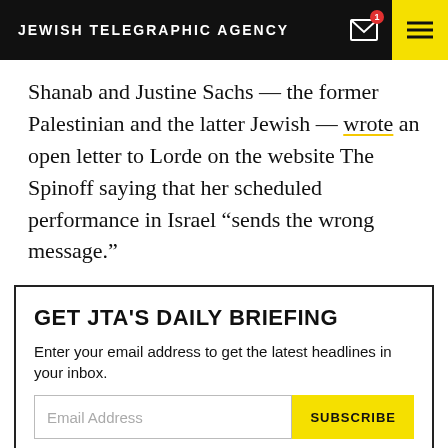JEWISH TELEGRAPHIC AGENCY
Shanab and Justine Sachs — the former Palestinian and the latter Jewish — wrote an open letter to Lorde on the website The Spinoff saying that her scheduled performance in Israel “sends the wrong message.”
GET JTA'S DAILY BRIEFING
Enter your email address to get the latest headlines in your inbox.
By submitting the above I agree to the Privacy policy of JTA.org.